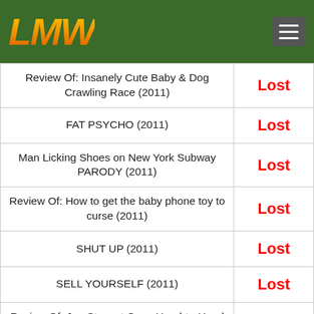[Figure (logo): LMW logo in gold/orange italic bold text on dark green background with hamburger menu icon]
| Title | Status |
| --- | --- |
| Review Of: Insanely Cute Baby & Dog Crawling Race (2011) | Lost |
| FAT PSYCHO (2011) | Lost |
| Man Licking Shoes on New York Subway PARODY (2011) | Lost |
| Review Of: How to get the baby phone toy to curse (2011) | Lost |
| SHUT UP (2011) | Lost |
| SELL YOURSELF (2011) | Lost |
| Review Of: Jon Stewart Goes Head-to-Head Bill O'Reilly (2011) | Lost |
| Review Of: Greatest Marriage Proposal EVER!!! (2011) | Lost |